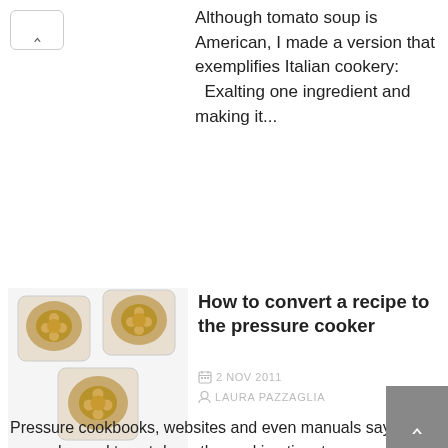Although tomato soup is American, I made a version that exemplifies Italian cookery: Exalting one ingredient and making it...
[Figure (photo): Three small square white baking dishes containing golden-brown baked food, viewed from above on a white background.]
How to convert a recipe to the pressure cooker
2 NOV 2011
LAURA PAZZAGLIA
Pressure cookbooks, websites and even manuals say that you only need to cut down the cooking time to convert a recipe to the pressure cooker – but there is so much more to consider!In Julia Child's memory and spirit, I